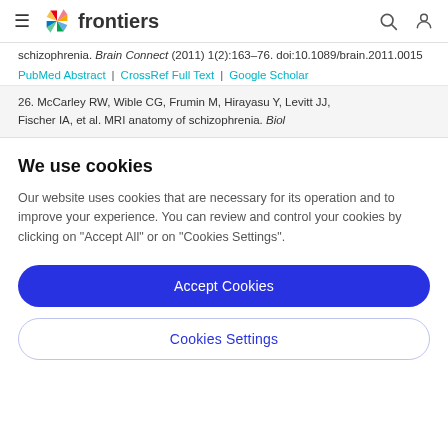frontiers
schizophrenia. Brain Connect (2011) 1(2):163–76. doi:10.1089/brain.2011.0015
PubMed Abstract | CrossRef Full Text | Google Scholar
26. McCarley RW, Wible CG, Frumin M, Hirayasu Y, Levitt JJ, Fischer IA, et al. MRI anatomy of schizophrenia. Biol
We use cookies
Our website uses cookies that are necessary for its operation and to improve your experience. You can review and control your cookies by clicking on "Accept All" or on "Cookies Settings".
Accept Cookies
Cookies Settings